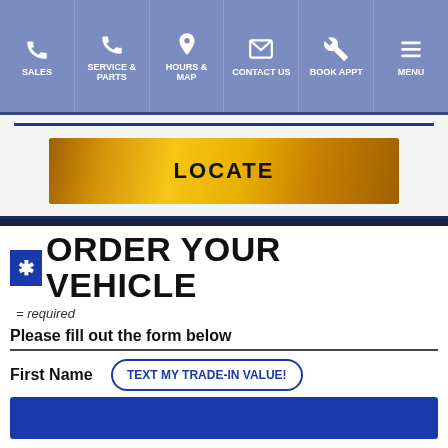SALES | SERVICE & PARTS | HOURS & MAP | CONTACT US | BOOK APPT | MENU
[Figure (other): LOCATE button with gold gradient background]
ORDER YOUR VEHICLE
= required
Please fill out the form below
First Name
TEXT MY TRADE-IN VALUE!
Last Name
Chat With Us